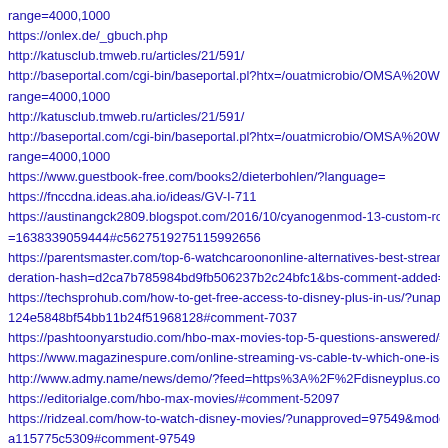range=4000,1000
https://onlex.de/_gbuch.php
http://katusclub.tmweb.ru/articles/21/591/
http://baseportal.com/cgi-bin/baseportal.pl?htx=/ouatmicrobio/OMSA%20Web%20...
range=4000,1000
http://katusclub.tmweb.ru/articles/21/591/
http://baseportal.com/cgi-bin/baseportal.pl?htx=/ouatmicrobio/OMSA%20Web%20...
range=4000,1000
https://www.guestbook-free.com/books2/dieterbohlen/?language=
https://fnccdna.ideas.aha.io/ideas/GV-I-711
https://austinangck2809.blogspot.com/2016/10/cyanogenmod-13-custom-rom-for-g...
=1638339059444#c5627519275115992656
https://parentsmaster.com/top-6-watchcaroononline-alternatives-best-streaming-se...
deration-hash=d2ca7b785984bd9fb506237b2c24bfc1&bs-comment-added=1#com...
https://techsprohub.com/how-to-get-free-access-to-disney-plus-in-us/?unapproved...
124e5848bf54bb11b24f51968128#comment-7037
https://pashtoonyarstudio.com/hbo-max-movies-top-5-questions-answered/#comm...
https://www.magazinespure.com/online-streaming-vs-cable-tv-which-one-is-the-be...
http://www.admy.name/news/demo/?feed=https%3A%2F%2Fdisneyplus.combegin...
https://editorialge.com/hbo-max-movies/#comment-52097
https://ridzeal.com/how-to-watch-disney-movies/?unapproved=97549&moderation-...
a115775c5309#comment-97549
https://www.readytechoo.com/2021/10/how-to-unlock-amazon-fire-tv-stick-or.htm...